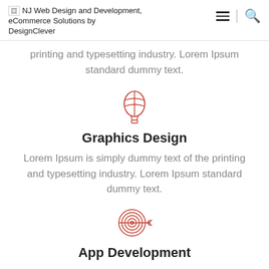NJ Web Design and Development, eCommerce Solutions by DesignClever
printing and typesetting industry. Lorem Ipsum standard dummy text.
[Figure (illustration): Red outline hot air balloon icon]
Graphics Design
Lorem Ipsum is simply dummy text of the printing and typesetting industry. Lorem Ipsum standard dummy text.
[Figure (illustration): Red outline target/bullseye with arrow icon]
App Development
Lorem Ipsum is simply dummy text of the printing and typesetting industry. Lorem Ipsum standard dummy text.